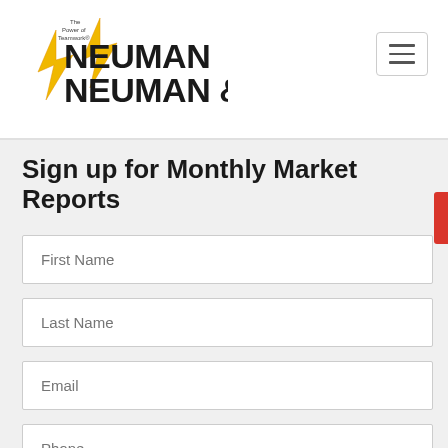[Figure (logo): Neuman Neuman & company logo with lightning bolt, tagline 'The Power of Teamwork']
Sign up for Monthly Market Reports
First Name
Last Name
Email
Phone